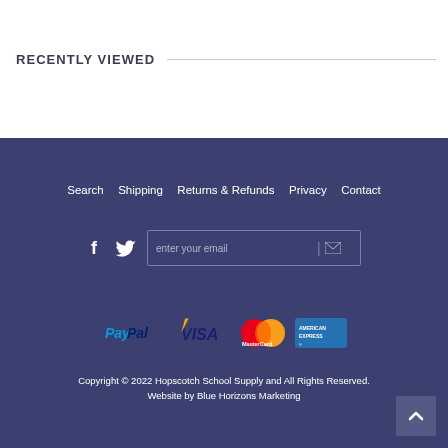RECENTLY VIEWED
Search   Shipping   Returns & Refunds   Privacy   Contact
[Figure (other): Footer social icons (Facebook, Twitter) and email newsletter input box with send icon]
[Figure (other): Payment method logos: PayPal, Visa, MasterCard, American Express]
Copyright © 2022 Hopscotch School Supply and All Rights Reserved. Website by Blue Horizons Marketing